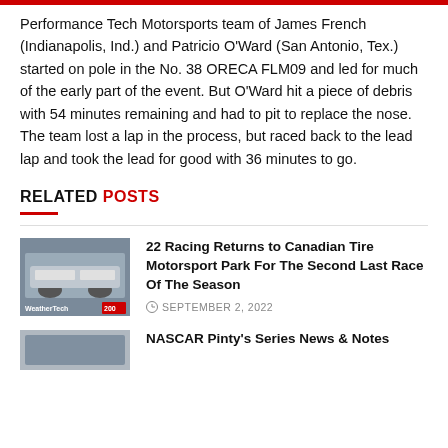Performance Tech Motorsports team of James French (Indianapolis, Ind.) and Patricio O'Ward (San Antonio, Tex.) started on pole in the No. 38 ORECA FLM09 and led for much of the early part of the event. But O'Ward hit a piece of debris with 54 minutes remaining and had to pit to replace the nose. The team lost a lap in the process, but raced back to the lead lap and took the lead for good with 36 minutes to go.
RELATED POSTS
22 Racing Returns to Canadian Tire Motorsport Park For The Second Last Race Of The Season
SEPTEMBER 2, 2022
NASCAR Pinty's Series News & Notes